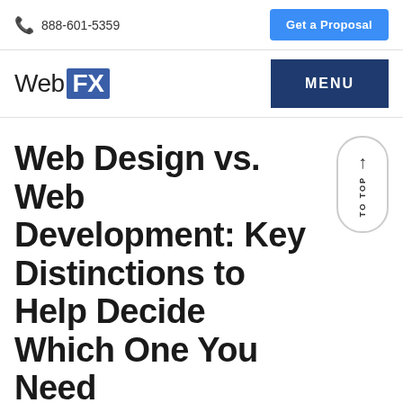☎ 888-601-5359 | Get a Proposal
WebFX | MENU
Web Design vs. Web Development: Key Distinctions to Help Decide Which One You Need